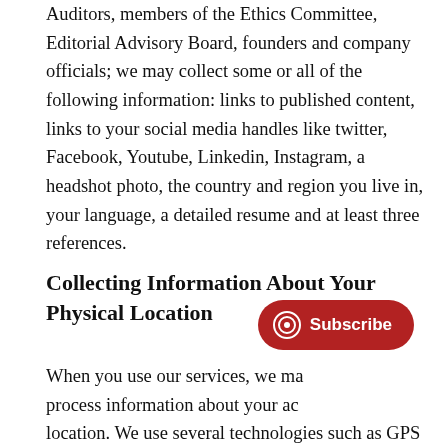Auditors, members of the Ethics Committee, Editorial Advisory Board, founders and company officials; we may collect some or all of the following information: links to published content, links to your social media handles like twitter, Facebook, Youtube, Linkedin, Instagram, a headshot photo, the country and region you live in, your language, a detailed resume and at least three references.
Collecting Information About Your Physical Location
When you use our services, we may collect and process information about your actual physical location. We use several technologies such as GPS